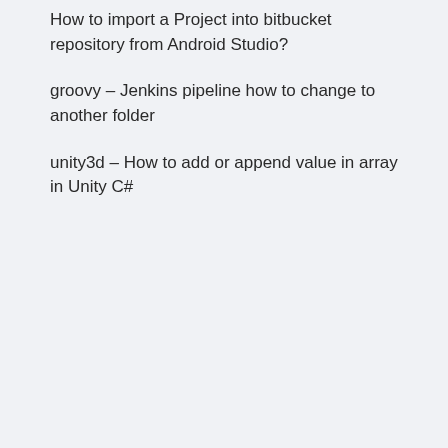How to import a Project into bitbucket repository from Android Studio?
groovy – Jenkins pipeline how to change to another folder
unity3d – How to add or append value in array in Unity C#